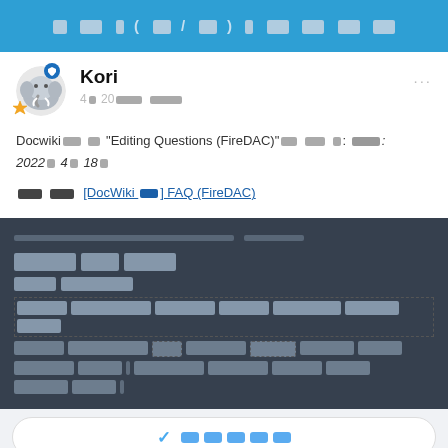[Redacted CJK title text]
Kori
4월 20일 이후 작성
Docwiki에 있는 "Editing Questions (FireDAC)"의 내용 중: 최종 수정: 2022년 4월 18일
관련 게시물: [DocWiki 관련] FAQ (FireDAC)
[Figure (screenshot): Dark background section with redacted/blurred text blocks in a forum or app interface]
[Button: 확인하기 (Confirm)]